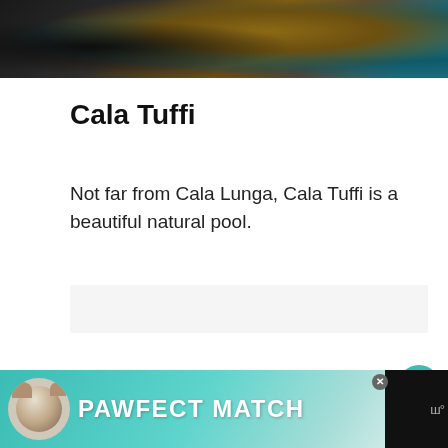[Figure (photo): Aerial view of rocky coastline with dark rocks, brown/golden rock formations, and teal-blue sea water visible at top of page]
Cala Tuffi
Not far from Cala Lunga, Cala Tuffi is a beautiful natural pool.
[Figure (other): Empty light gray content placeholder box]
[Figure (other): Advertisement banner at bottom: dark background with teal section showing a dog illustration and text PAWFECT MATCH, with WW logo on right]
443